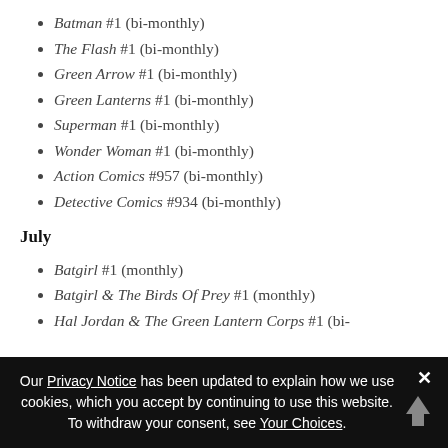Batman #1 (bi-monthly)
The Flash #1 (bi-monthly)
Green Arrow #1 (bi-monthly)
Green Lanterns #1 (bi-monthly)
Superman #1 (bi-monthly)
Wonder Woman #1 (bi-monthly)
Action Comics #957 (bi-monthly)
Detective Comics #934 (bi-monthly)
July
Batgirl #1 (monthly)
Batgirl & The Birds Of Prey #1 (monthly)
Hal Jordan & The Green Lantern Corps #1 (bi-
Our Privacy Notice has been updated to explain how we use cookies, which you accept by continuing to use this website. To withdraw your consent, see Your Choices.